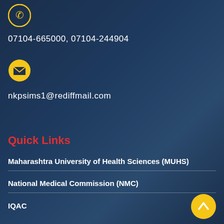[Figure (illustration): Yellow phone icon in a yellow circle on dark blue background]
07104-665000, 07104-244904
[Figure (illustration): Yellow envelope/email icon in a yellow circle on dark blue background]
nkpsims1@rediffmail.com
Quick Links
Maharashtra University of Health Sciences (MUHS)
National Medical Commission (NMC)
IQAC
[Figure (illustration): Yellow circle button with white upward arrow for scroll to top]